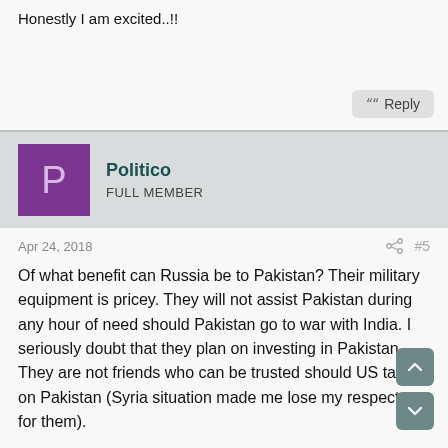Honestly I am excited..!!
Politico
FULL MEMBER
Apr 24, 2018
#5
Of what benefit can Russia be to Pakistan? Their military equipment is pricey. They will not assist Pakistan during any hour of need should Pakistan go to war with India. I seriously doubt that they plan on investing in Pakistan. They are not friends who can be trusted should US take on Pakistan (Syria situation made me lose my respect for them).